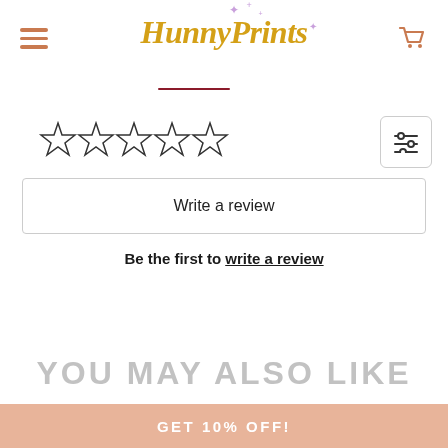HunnyPrints
[Figure (illustration): Five empty star rating icons in a row, and a filter/sliders icon button on the right]
Write a review
Be the first to write a review
YOU MAY ALSO LIKE
GET 10% OFF!